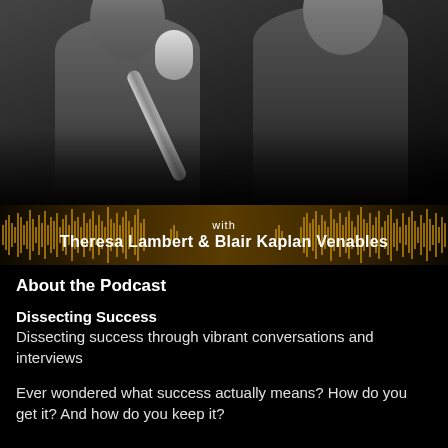[Figure (photo): Black and white photo of two smiling women, one holding a microphone toward the camera. Dark background.]
with
Theresa Lambert & Blair Kaplan Venables
About the Podcast
Dissecting Success
Dissecting success through vibrant conversations and interviews
Ever wondered what success actually means? How do you get it? And how do you keep it?